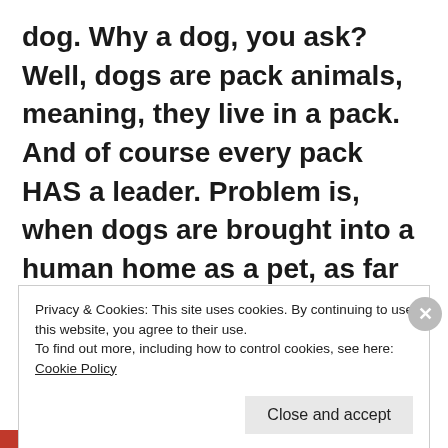dog. Why a dog, you ask? Well, dogs are pack animals, meaning, they live in a pack. And of course every pack HAS a leader. Problem is, when dogs are brought into a human home as a pet, as far as they are concerned, this is their new pack and they are looking for the leader. If no one becomes that dog's leader, the dog will assume that role. When that happens, it makes for a frustrating experience – both for the dog
Privacy & Cookies: This site uses cookies. By continuing to use this website, you agree to their use.
To find out more, including how to control cookies, see here: Cookie Policy